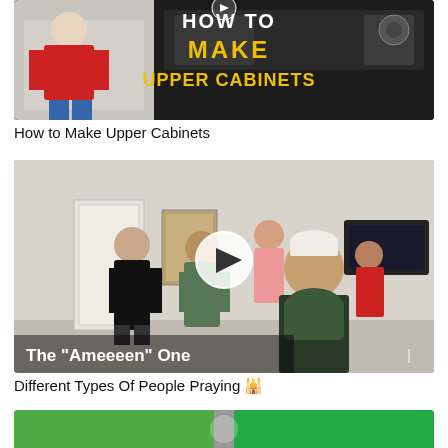[Figure (screenshot): Video thumbnail showing a man in a red t-shirt with text overlay 'HOW TO MAKE UPPER CABINETS' in yellow and white bold letters on a dark background with workshop equipment visible]
How to Make Upper Cabinets
[Figure (screenshot): Video thumbnail showing a group of men appearing to pray indoors, with a play button icon overlay and text 'The "Ameeeen" One' at the bottom left in white]
Different Types Of People Praying 🕌
[Figure (screenshot): Partially visible third video thumbnail at the bottom of the page]